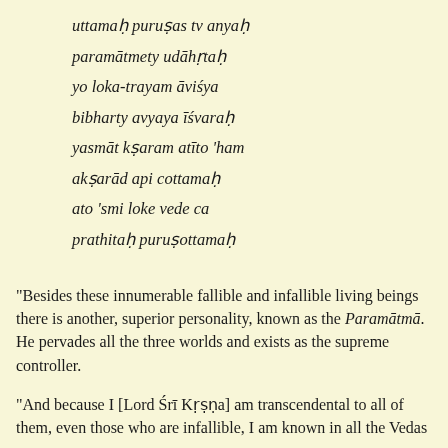uttamaḥ puruṣas tv anyaḥ
paramātmety udāhṛtaḥ
yo loka-trayam āviśya
bibharty avyaya īśvaraḥ
yasmāt kṣaram atīto 'ham
akṣarād api cottamaḥ
ato 'smi loke vede ca
prathitaḥ puruṣottamaḥ
"Besides these innumerable fallible and infallible living beings there is another, superior personality, known as the Paramātmā. He pervades all the three worlds and exists as the supreme controller.
"And because I [Lord Śrī Kṛṣṇa] am transcendental to all of them, even those who are infallible, I am known in all the Vedas...